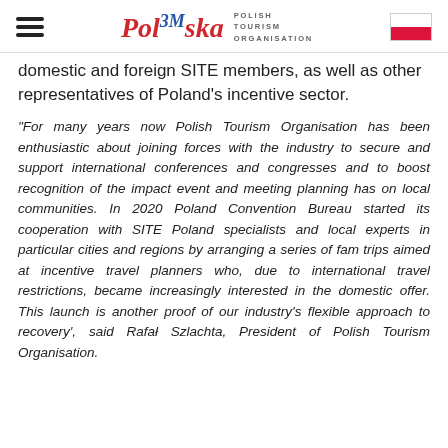Polish Tourism Organisation
domestic and foreign SITE members, as well as other representatives of Poland's incentive sector.
“For many years now Polish Tourism Organisation has been enthusiastic about joining forces with the industry to secure and support international conferences and congresses and to boost recognition of the impact event and meeting planning has on local communities. In 2020 Poland Convention Bureau started its cooperation with SITE Poland specialists and local experts in particular cities and regions by arranging a series of fam trips aimed at incentive travel planners who, due to international travel restrictions, became increasingly interested in the domestic offer. This launch is another proof of our industry’s flexible approach to recovery’, said Rafał Szlachta, President of Polish Tourism Organisation.